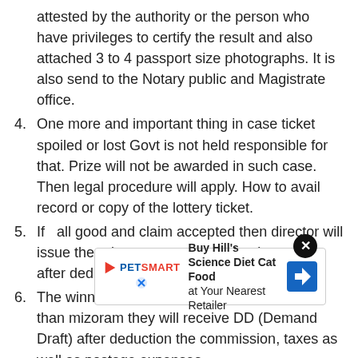attested by the authority or the person who have privileges to certify the result and also attached 3 to 4 passport size photographs. It is also send to the Notary public and Magistrate office.
4. One more and important thing in case ticket spoiled or lost Govt is not held responsible for that. Prize will not be awarded in such case. Then legal procedure will apply. How to avail record or copy of the lottery ticket.
5. If  all good and claim accepted then director will issue the prize amount to your bank account after deduction of taxes applies to your prize.
6. The winners who live in another state rather than mizoram they will receive DD (Demand Draft) after deduction the commission, taxes as well as postage expenses.
7. Th[...] ill b[...]
8. A very simple and fast process conducted to claim